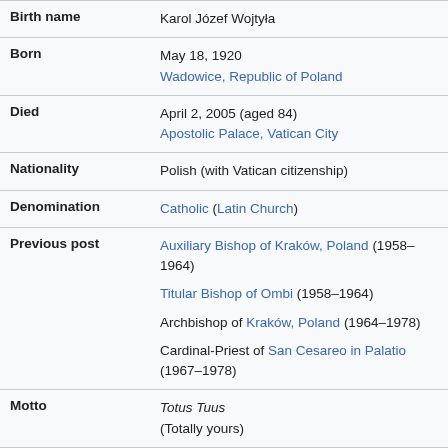| Field | Value |
| --- | --- |
| Birth name | Karol Józef Wojtyła |
| Born | May 18, 1920
Wadowice, Republic of Poland |
| Died | April 2, 2005 (aged 84)
Apostolic Palace, Vatican City |
| Nationality | Polish (with Vatican citizenship) |
| Denomination | Catholic (Latin Church) |
| Previous post | Auxiliary Bishop of Kraków, Poland (1958–1964)
Titular Bishop of Ombi (1958–1964)
Archbishop of Kraków, Poland (1964–1978)
Cardinal-Priest of San Cesareo in Palatio (1967–1978) |
| Motto | Totus Tuus
(Totally yours) |
| Signature | [signature image] |